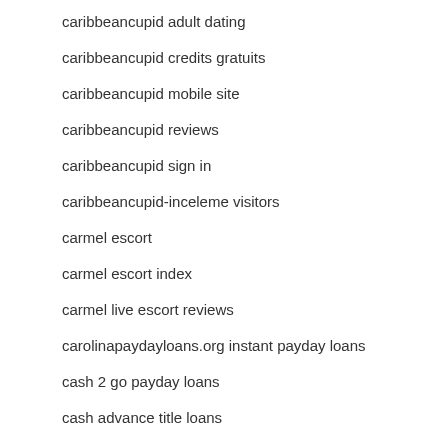caribbeancupid adult dating
caribbeancupid credits gratuits
caribbeancupid mobile site
caribbeancupid reviews
caribbeancupid sign in
caribbeancupid-inceleme visitors
carmel escort
carmel escort index
carmel live escort reviews
carolinapaydayloans.org instant payday loans
cash 2 go payday loans
cash advance title loans
cash america payday loan
cash express payday loan